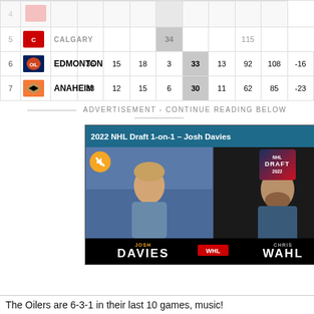| # | Team | GP | W | L | OT | PTS | STRK | GF | GA | DIFF |
| --- | --- | --- | --- | --- | --- | --- | --- | --- | --- | --- |
| 4 | (blurred) | ... | ... | ... | ... | ... | ... | ... | ... | ... |
| 5 | (blurred) | ... | ... | ... | ... | 34 | ... | ... | 115 | ... |
| 6 | EDMONTON | 36 | 15 | 18 | 3 | 33 | 13 | 92 | 108 | -16 |
| 7 | ANAHEIM | 33 | 12 | 15 | 6 | 30 | 11 | 62 | 85 | -23 |
ADVERTISEMENT - CONTINUE READING BELOW
[Figure (screenshot): Video player overlay showing '2022 NHL Draft 1-on-1 – Josh Davies' with two people on a video call. Left side shows Josh Davies, right side shows Chris Wahl. WHL branding visible. Mute button visible. Draft logo badge visible.]
The Oilers are 6-3-1 in their last 10 games, music!